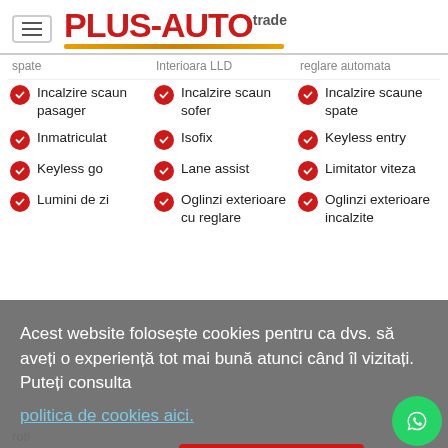[Figure (logo): Plus-Auto Trade logo with red text and yellow underline, hamburger menu icon on left]
Incalzire scaun pasager
Incalzire scaun sofer
Incalzire scaune spate
Inmatriculat
Isofix
Keyless entry
Keyless go
Lane assist
Limitator viteza
Lumini de zi
Oglinzi exterioare cu reglare
Oglinzi exterioare incalzite
Acest website folosește cookies pentru ca dvs. să aveți o experiență tot mai bună atunci când îl vizitați. Puteți consulta politica de cookies aici.
Nu sunt de acord
Sunt de acord
roti